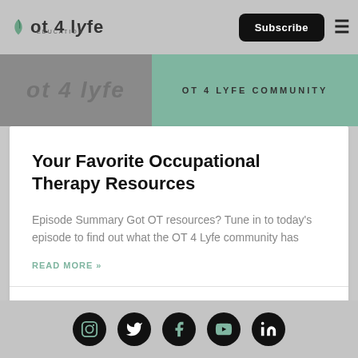ot 4 lyfe | Subscribe | Menu
[Figure (screenshot): OT 4 Lyfe banner with logo and OT 4 LYFE COMMUNITY text on green background]
Your Favorite Occupational Therapy Resources
Episode Summary Got OT resources? Tune in to today's episode to find out what the OT 4 Lyfe community has
READ MORE »
June 22, 2020  No Comments
[Figure (illustration): Social media icons row: Instagram, Twitter, Facebook, YouTube, LinkedIn on dark circles]